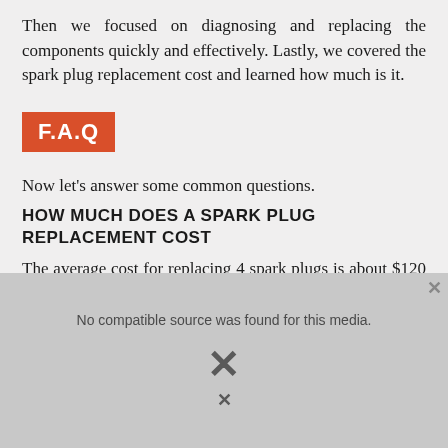Then we focused on diagnosing and replacing the components quickly and effectively. Lastly, we covered the spark plug replacement cost and learned how much is it.
[Figure (other): F.A.Q badge — orange/red rectangle with white bold text reading 'F.A.Q']
Now let's answer some common questions.
HOW MUCH DOES A SPARK PLUG REPLACEMENT COST
The average cost for replacing 4 spark plugs is about $120 at a shop. The parts alone are about $40 to $60. The more spark plugs your car has the more expensive it will be to replace them. Some replacements can cost up to $250.
BMW SPARK PLUG REPLACEMENT COST
[Figure (other): Video player overlay showing 'No compatible source was found for this media.' with a large X close button and photo of spark plug wires in background]